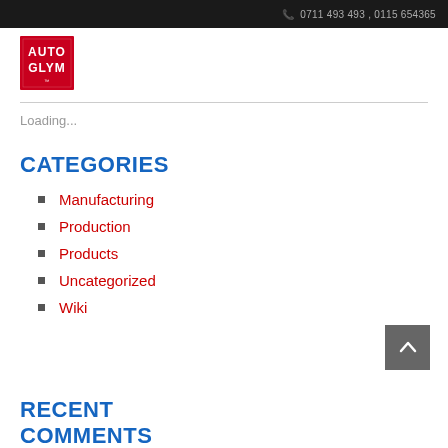0711 493 493 , 0115 654365
[Figure (logo): AutoGlym logo — red square with white text AUTO GLYM stacked]
Loading...
CATEGORIES
Manufacturing
Production
Products
Uncategorized
Wiki
RECENT COMMENTS